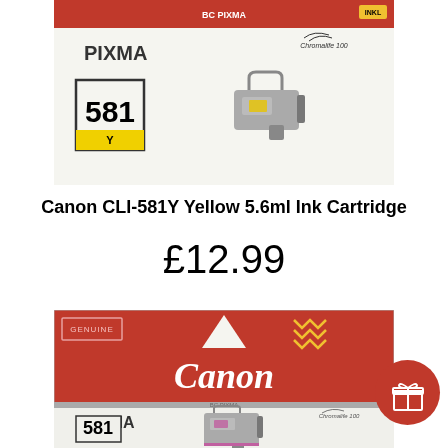[Figure (photo): Canon CLI-581Y Yellow ink cartridge product box showing PIXMA branding, number 581 with yellow label, Chromalife 100 logo, and the ink cartridge itself]
Canon CLI-581Y Yellow 5.6ml Ink Cartridge
£12.99
[Figure (photo): Canon CLI-581M Magenta ink cartridge product box showing GENUINE label, Canon red branding with white Canon text, PIXMA branding, number 581 with magenta label, and the ink cartridge]